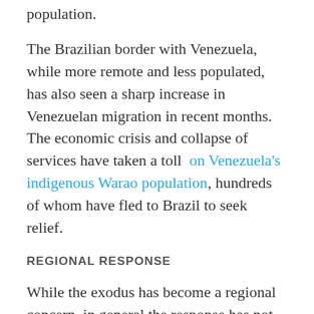population.
The Brazilian border with Venezuela, while more remote and less populated, has also seen a sharp increase in Venezuelan migration in recent months. The economic crisis and collapse of services have taken a toll on Venezuela's indigenous Warao population, hundreds of whom have fled to Brazil to seek relief.
REGIONAL RESPONSE
While the exodus has become a regional concern, in general the response has not been marked by a significant crackdowns on Venezuelan immigration. Only a handful of countries have actively made it more difficult for Venezuelans to enter. The most well-known of these is Panama, which recently implemented a new $60 visa requirement for Venezuelan